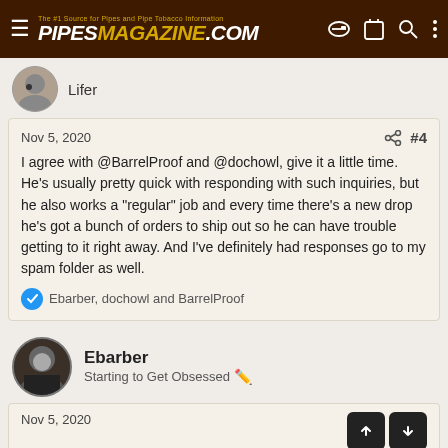PipesMagazine.com - The #1 Source for Pipes and Pipe Tobacco Information
Lifer
Nov 5, 2020  #4

I agree with @BarrelProof and @dochowl, give it a little time. He's usually pretty quick with responding with such inquiries, but he also works a "regular" job and every time there's a new drop he's got a bunch of orders to ship out so he can have trouble getting to it right away. And I've definitely had responses go to my spam folder as well.

👍 Ebarber, dochowl and BarrelProof
Ebarber
Starting to Get Obsessed
Nov 5, 2020
Thank you...